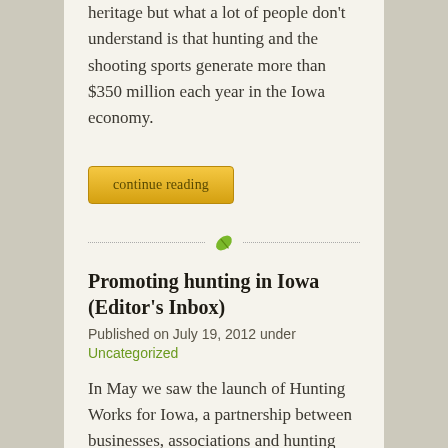heritage but what a lot of people don't understand is that hunting and the shooting sports generate more than $350 million each year in the Iowa economy.
[Figure (other): Yellow 'continue reading' button]
[Figure (other): Dotted divider line with green leaf icon in center]
Promoting hunting in Iowa (Editor's Inbox)
Published on July 19, 2012 under Uncategorized
In May we saw the launch of Hunting Works for Iowa, a partnership between businesses, associations and hunting groups across Iowa.